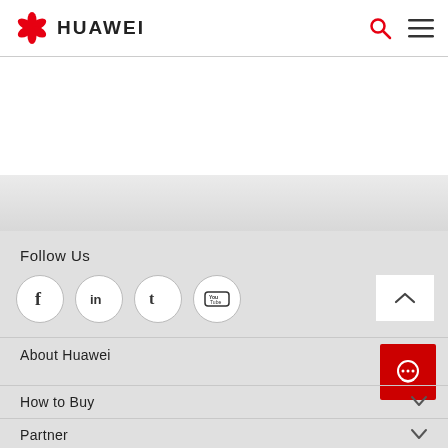HUAWEI
Follow Us
[Figure (infographic): Social media icons: Facebook, LinkedIn, Twitter, YouTube in circular buttons]
About Huawei
How to Buy
Partner
Resources